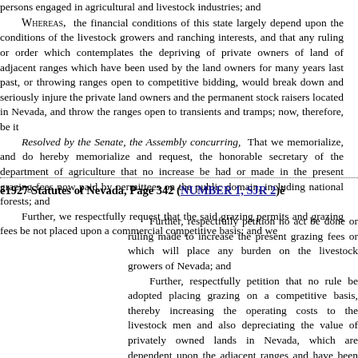persons engaged in agricultural and livestock industries; and
WHEREAS, the financial conditions of this state largely depend upon the conditions of the livestock growers and ranching interests, and that any ruling or order which contemplates the depriving of private owners of land of adjacent ranges which have been used by the land owners for many years last past, or throwing ranges open to competitive bidding, would break down and seriously injure the private land owners and the permanent stock raisers located in Nevada, and throw the ranges open to transients and tramps; now, therefore, be it
Resolved by the Senate, the Assembly concurring, That we memorialize, and do hereby memorialize and request, the honorable secretary of the department of agriculture that no increase be had or made in the present grazing fees now paid by permittees on the public domain, including national forests; and
Further, we respectfully request that the said grazing permits and grazing fees be not placed upon a commercial competitive basis; and we
ê1927 Statutes of Nevada, Page 342 (NUMBER 1, SJR 2)ê
Further, respectfully petition no act be done or ruling made to increase the present grazing fees or which will place any burden on the livestock growers of Nevada; and
Further, respectfully petition that no rule be adopted placing grazing on a competitive basis, thereby increasing the operating costs to the livestock men and also depreciating the value of privately owned lands in Nevada, which are dependent upon the adjacent ranges and have been reclaimed by the permanent residents of the various communities; and be it further
Resolved, That the secretary of state of the State of Nevada is hereby directed to forward a certified copy of this resolution by mail to our senators and our representative in Congress, the secretary of agriculture of the United States, and the president of the senate of the United States.